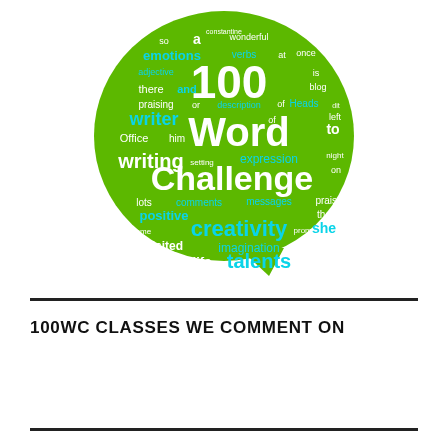[Figure (illustration): 100 Word Challenge logo: a green speech bubble containing a word cloud with '100 Word Challenge' prominently displayed in white, surrounded by education/writing related words in white, dark blue, and cyan on green background.]
100WC CLASSES WE COMMENT ON